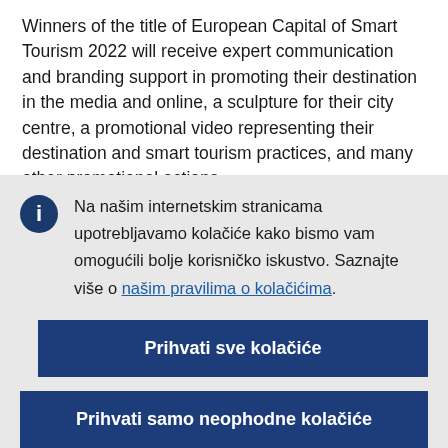Winners of the title of European Capital of Smart Tourism 2022 will receive expert communication and branding support in promoting their destination in the media and online, a sculpture for their city centre, a promotional video representing their destination and smart tourism practices, and many other promotional actions
Na našim internetskim stranicama upotrebljavamo kolačiće kako bismo vam omogućili bolje korisničko iskustvo. Saznajte više o našim pravilima o kolačićima.
Prihvati sve kolačiće
Prihvati samo neophodne kolačiće